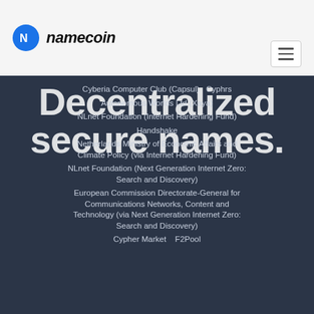namecoin
Decentralized secure names.
Cyberia Computer Club (Capsul)   Cyphrs
Autonomous Worlds Ltd (Xaya)
NLnet Foundation (Internet Hardening Fund)
Handshake
Netherlands Ministry of Economic Affairs and Climate Policy (via Internet Hardening Fund)
NLnet Foundation (Next Generation Internet Zero: Search and Discovery)
European Commission Directorate-General for Communications Networks, Content and Technology (via Next Generation Internet Zero: Search and Discovery)
Cypher Market    F2Pool